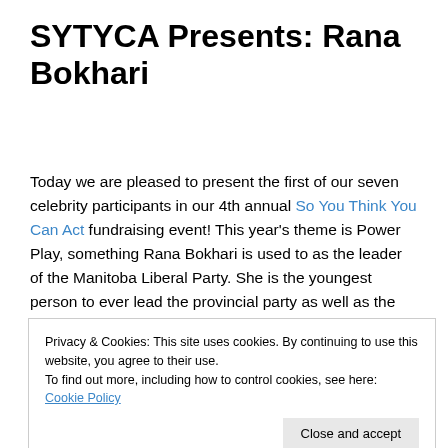SYTYCA Presents: Rana Bokhari
Today we are pleased to present the first of our seven celebrity participants in our 4th annual So You Think You Can Act fundraising event! This year's theme is Power Play, something Rana Bokhari is used to as the leader of the Manitoba Liberal Party. She is the youngest person to ever lead the provincial party as well as the first of South Asian descent to lead any political party in Manitoba. With
Privacy & Cookies: This site uses cookies. By continuing to use this website, you agree to their use.
To find out more, including how to control cookies, see here: Cookie Policy
Close and accept